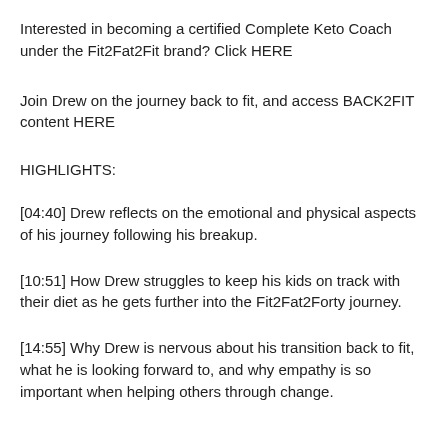Interested in becoming a certified Complete Keto Coach under the Fit2Fat2Fit brand? Click HERE
Join Drew on the journey back to fit, and access BACK2FIT content HERE
HIGHLIGHTS:
[04:40] Drew reflects on the emotional and physical aspects of his journey following his breakup.
[10:51] How Drew struggles to keep his kids on track with their diet as he gets further into the Fit2Fat2Forty journey.
[14:55] Why Drew is nervous about his transition back to fit, what he is looking forward to, and why empathy is so important when helping others through change.